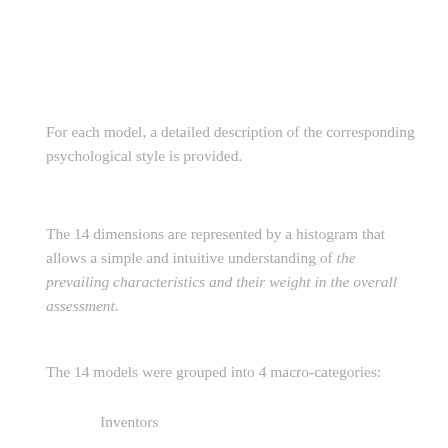For each model, a detailed description of the corresponding psychological style is provided.
The 14 dimensions are represented by a histogram that allows a simple and intuitive understanding of the prevailing characteristics and their weight in the overall assessment.
The 14 models were grouped into 4 macro-categories:
Inventors